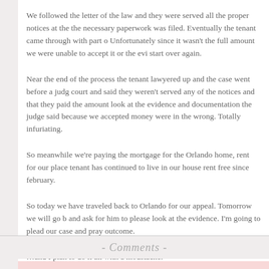We followed the letter of the law and they were served all the proper notices at the the necessary paperwork was filed. Eventually the tenant came through with part o Unfortunately since it wasn't the full amount we were unable to accept it or the evi start over again.
Near the end of the process the tenant lawyered up and the case went before a judg court and said they weren't served any of the notices and that they paid the amount look at the evidence and documentation the judge said because we accepted money were in the wrong. Totally infuriating.
So meanwhile we're paying the mortgage for the Orlando home, rent for our place tenant has continued to live in our house rent free since february.
So today we have traveled back to Orlando for our appeal. Tomorrow we will go b and ask for him to please look at the evidence. I'm going to plead our case and pray outcome.
…and I plan to do it all with a moustache.
- Comments -